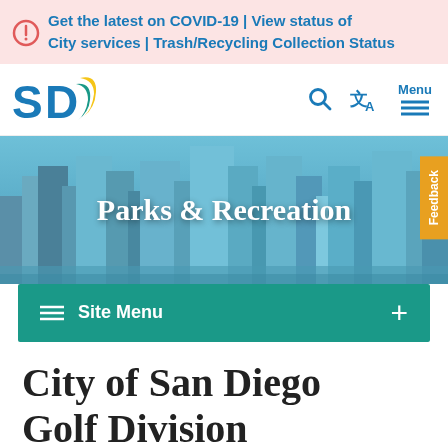Get the latest on COVID-19 | View status of City services | Trash/Recycling Collection Status
[Figure (screenshot): San Diego city logo with SD letters and yellow/blue swoosh]
[Figure (infographic): Parks & Recreation hero banner with city skyline background]
Site Menu
City of San Diego Golf Division